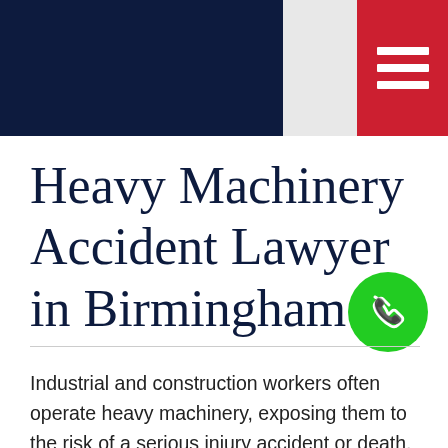[Figure (other): Website header with dark navy left section, gray middle section, and red right section containing a white hamburger menu icon]
Heavy Machinery Accident Lawyer in Birmingham
[Figure (other): Green circular phone/call button icon]
Industrial and construction workers often operate heavy machinery, exposing them to the risk of a serious injury accident or death. If you